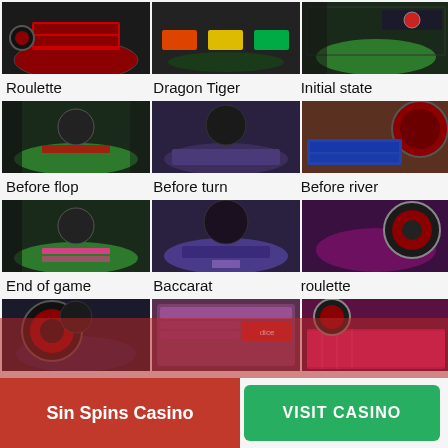[Figure (photo): Casino roulette table screenshot top row - 3 images showing roulette, dragon tiger, initial state]
Roulette
Dragon Tiger
Initial state
[Figure (photo): Casino table game screenshots - Before flop, Before turn, Before river]
Before flop
Before turn
Before river
[Figure (photo): Casino table game screenshots - End of game, Baccarat, roulette]
End of game
Baccarat
roulette
[Figure (photo): Casino screenshots bottom row - roulette, barbut, neon roulette]
Sin Spins Casino
VISIT CASINO